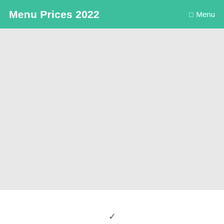Menu Prices 2022   ☰  Menu
[Figure (other): Large light gray hero/banner area below the header, occupying most of the upper portion of the page.]
✓